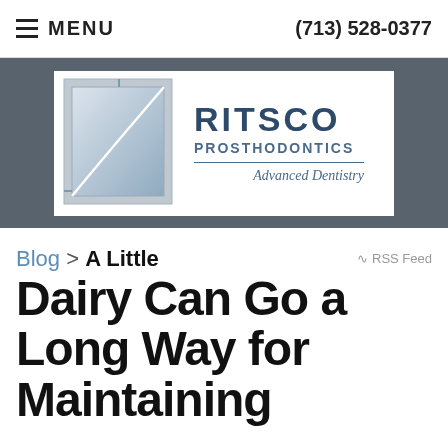MENU   (713) 528-0377
[Figure (logo): Ritsco Prosthodontics Advanced Dentistry logo with stylized square graphic and curved line]
Blog > A Little Dairy Can Go a Long Way for Maintaining
RSS Feed